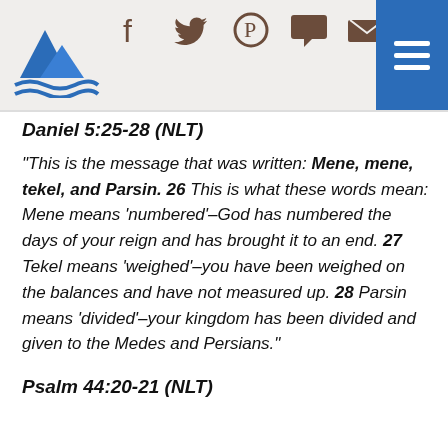[Website header with logo and social icons]
Daniel 5:25-28 (NLT)
“This is the message that was written: Mene, mene, tekel, and Parsin. 26 This is what these words mean: Mene means ‘numbered’–God has numbered the days of your reign and has brought it to an end. 27 Tekel means ‘weighed’–you have been weighed on the balances and have not measured up. 28 Parsin means ‘divided’–your kingdom has been divided and given to the Medes and Persians.”
Psalm 44:20-21 (NLT)